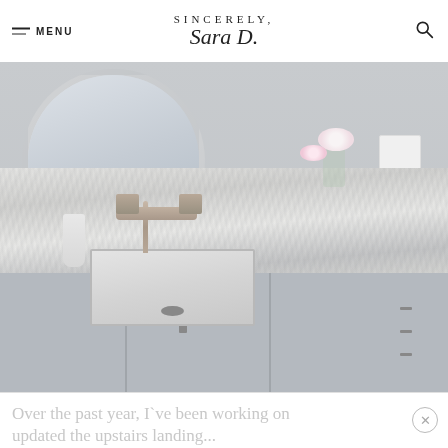MENU | SINCERELY, Sara D.
[Figure (photo): Bathroom vanity with white marble countertop, gray cabinet, undermount sink, brushed nickel widespread faucet, round mirror, vase with white and pink peonies, and white light switch plate on gray wall]
Over the past year, I`ve been working on updated the upstairs landing...